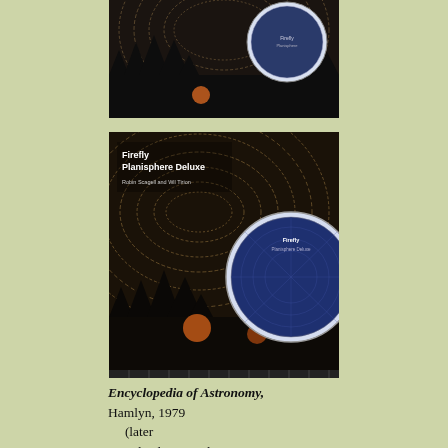[Figure (photo): Top portion of a book cover showing star trails over silhouetted trees with a circular planisphere overlay, cropped at the bottom]
[Figure (photo): Firefly Planisphere Deluxe book cover showing star trails over silhouetted trees with orange moon/sun and a circular planisphere overlay labeled Firefly Planisphere Deluxe]
Encyclopedia of Astronomy, Hamlyn, 1979 (later completely revised as Amateur Astronomy)
Hamlyn Guide to Weather Forecasting, Hamlyn 1982 (with Francis Wilson)